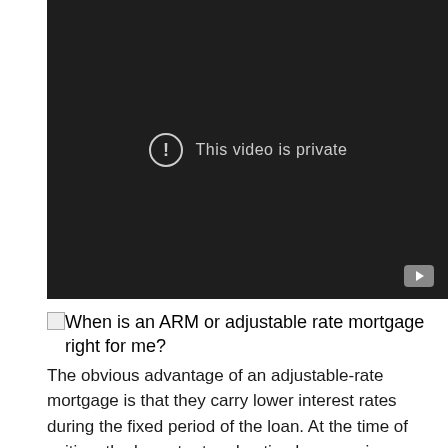[Figure (screenshot): A video player showing a dark background with a circular exclamation icon and the text 'This video is private', with a YouTube icon in the bottom right corner.]
[Figure (illustration): Broken image placeholder icon]
When is an ARM or adjustable rate mortgage right for me?
The obvious advantage of an adjustable-rate mortgage is that they carry lower interest rates during the fixed period of the loan. At the time of writing, the lowest rate advertised on a major.